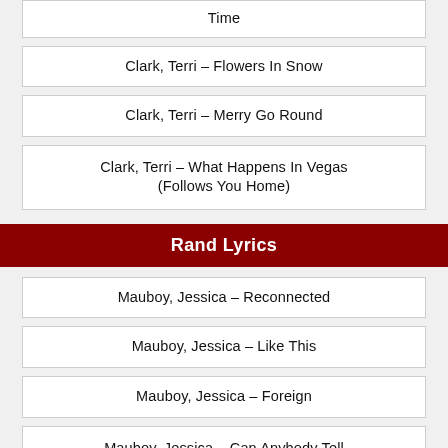Time
Clark, Terri – Flowers In Snow
Clark, Terri – Merry Go Round
Clark, Terri – What Happens In Vegas (Follows You Home)
Rand Lyrics
Mauboy, Jessica – Reconnected
Mauboy, Jessica – Like This
Mauboy, Jessica – Foreign
Mauboy, Jessica – Can Anybody Tell Me
Mauboy, Jessica – Fight For You